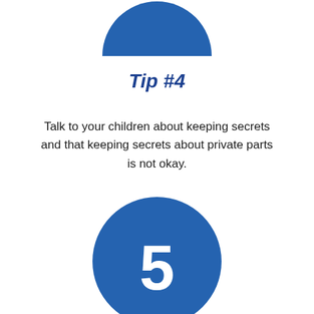[Figure (illustration): Blue circle partially visible at top of page, cropped, showing only the bottom half]
Tip #4
Talk to your children about keeping secrets and that keeping secrets about private parts is not okay.
[Figure (illustration): Blue circle with white number 5 centered inside, partially visible at bottom of page]